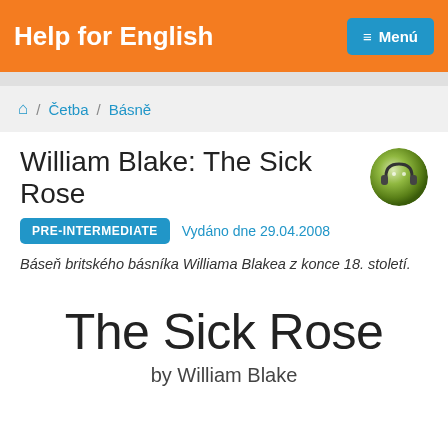Help for English
⌂ / Četba / Básně
William Blake: The Sick Rose
PRE-INTERMEDIATE  Vydáno dne 29.04.2008
Báseň britského básníka Williama Blakea z konce 18. století.
The Sick Rose
by William Blake